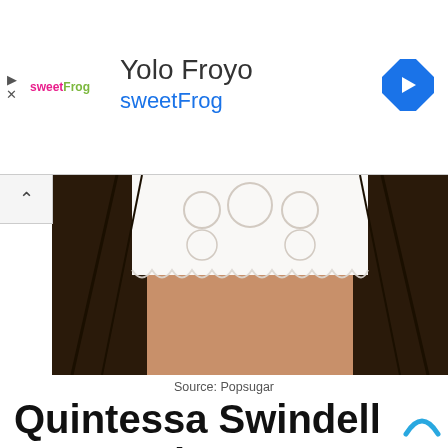[Figure (other): Advertisement banner for Yolo Froyo sweetFrog with navigation diamond icon]
[Figure (photo): Photo of person wearing white lace crop top and black patterned jacket, midriff visible, Source: Popsugar]
Source: Popsugar
Quintessa Swindell Net worth
The successful actor makes a standard living, earning enough from their acting career. Furthermore, with their portrayals in series such as Europhia, Trinkets, and movies such as Voyagers